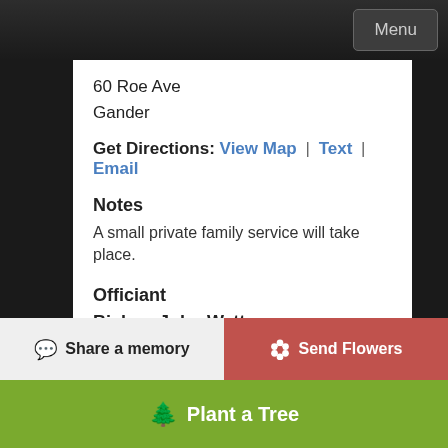Menu
60 Roe Ave
Gander
Get Directions: View Map | Text | Email
Notes
A small private family service will take place.
Officiant
Bishop John Watton
Send Flowers for Daryl service
Interment
Share a memory
Send Flowers
Plant a Tree